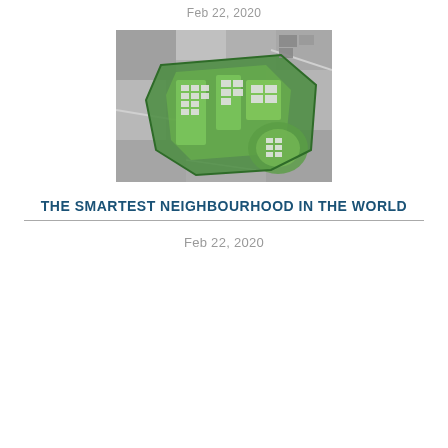Feb 22, 2020
[Figure (photo): Aerial view of a smart neighbourhood development plan showing green areas, residential blocks, and surrounding grey urban landscape from above.]
THE SMARTEST NEIGHBOURHOOD IN THE WORLD
Feb 22, 2020